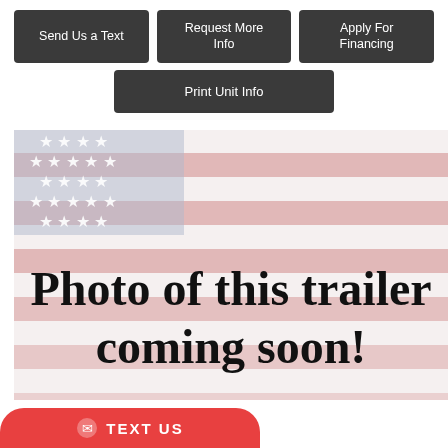Send Us a Text
Request More Info
Apply For Financing
Print Unit Info
[Figure (illustration): American flag background image with bold overlay text reading 'Photo of this trailer coming soon!']
TEXT US